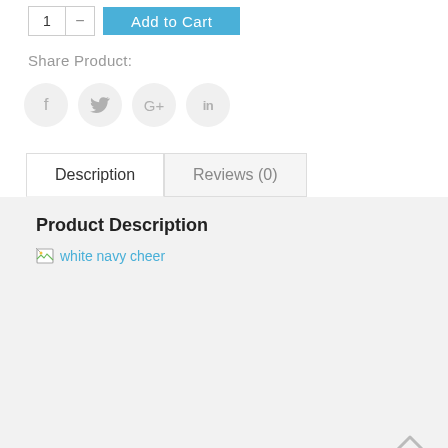Add to Cart
Share Product:
[Figure (infographic): Social sharing icons: Facebook (f), Twitter (bird), Google+ (G+), LinkedIn (in) — each in a light grey circle]
Description
Reviews (0)
Product Description
[Figure (photo): Broken image placeholder with alt text 'white navy cheer']